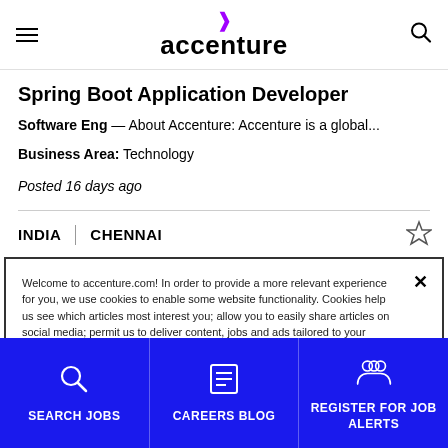accenture
Spring Boot Application Developer
Software Eng — About Accenture: Accenture is a global...
Business Area: Technology
Posted 16 days ago
INDIA | CHENNAI
Welcome to accenture.com! In order to provide a more relevant experience for you, we use cookies to enable some website functionality. Cookies help us see which articles most interest you; allow you to easily share articles on social media; permit us to deliver content, jobs and ads tailored to your interests and locations; and provide many other site benefits. For more information, please review our Cookies Policy and Privacy Statement.
Cookies Settings
SEARCH JOBS | CAREERS BLOG | REGISTER FOR JOB ALERTS